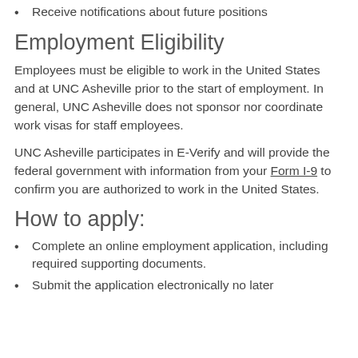Receive notifications about future positions
Employment Eligibility
Employees must be eligible to work in the United States and at UNC Asheville prior to the start of employment. In general, UNC Asheville does not sponsor nor coordinate work visas for staff employees.
UNC Asheville participates in E-Verify and will provide the federal government with information from your Form I-9 to confirm you are authorized to work in the United States.
How to apply:
Complete an online employment application, including required supporting documents.
Submit the application electronically no later